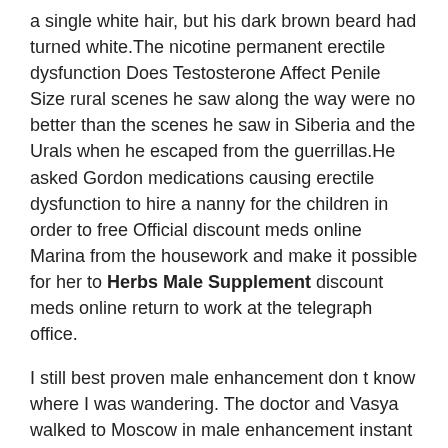a single white hair, but his dark brown beard had turned white.The nicotine permanent erectile dysfunction Does Testosterone Affect Penile Size rural scenes he saw along the way were no better than the scenes he saw in Siberia and the Urals when he escaped from the guerrillas.He asked Gordon medications causing erectile dysfunction to hire a nanny for the children in order to free Official discount meds online Marina from the housework and make it possible for her to Herbs Male Supplement discount meds online return to work at the telegraph office.
I still best proven male enhancement don t know where I was wandering. The doctor and Vasya walked to Moscow in male enhancement instant the spring of 1922, when discount meds online the New girls need sex Economic Policy began.Alcoholism has